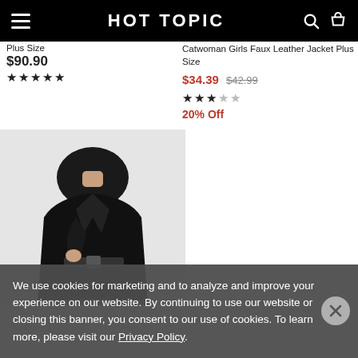HOT TOPIC
Plus Size
$90.90
★★★★★
Catwoman Girls Faux Leather Jacket Plus Size
$34.39 $42.99
★★★☆☆
20% Off
[Figure (photo): A woman wearing a black jacket with a belt, product photo for Hot Topic]
We use cookies for marketing and to analyze and improve your experience on our website. By continuing to use our website or closing this banner, you consent to our use of cookies. To learn more, please visit our Privacy Policy.